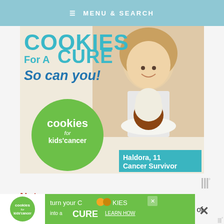MENU & SEARCH
[Figure (photo): Cookies for a Cure advertisement featuring a smiling young girl (Haldora, 11, Cancer Survivor) holding a plate of cookies, with 'COOKIES For A CURE So can you!' text and the Cookies for Kids' Cancer green circle logo]
Haldora, 11 Cancer Survivor
Notes
*If starting with large chicken breasts, cut each piece of meat into 2 even cutlets by
[Figure (infographic): Cookies for Kids' Cancer bottom banner ad: 'turn your COOKIES into a CURE LEARN HOW']